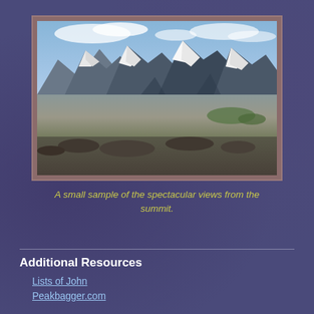[Figure (photo): Mountain landscape with snow-capped peaks and a broad desert valley below, under a partly cloudy blue sky.]
A small sample of the spectacular views from the summit.
Additional Resources
Lists of John
Peakbagger.com